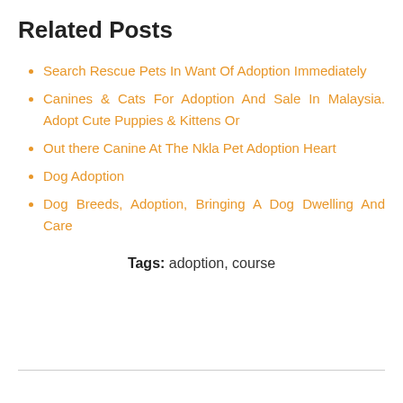Related Posts
Search Rescue Pets In Want Of Adoption Immediately
Canines & Cats For Adoption And Sale In Malaysia. Adopt Cute Puppies & Kittens Or
Out there Canine At The Nkla Pet Adoption Heart
Dog Adoption
Dog Breeds, Adoption, Bringing A Dog Dwelling And Care
Tags: adoption, course